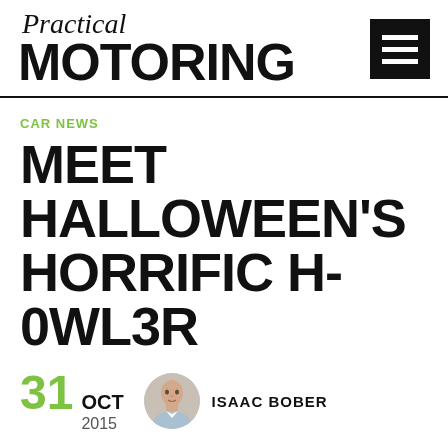Practical MOTORING
CAR NEWS
MEET HALLOWEEN'S HORRIFIC H-0WL3R
31 OCT 2015  ISAAC BOBER